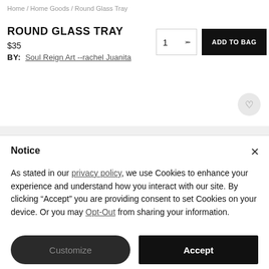Home / Home Goods / Round Glass Tray
ROUND GLASS TRAY
$35
BY: Soul Reign Art --rachel Juanita
Notice
As stated in our privacy policy, we use Cookies to enhance your experience and understand how you interact with our site. By clicking “Accept” you are providing consent to set Cookies on your device. Or you may Opt-Out from sharing your information.
Customize
Accept